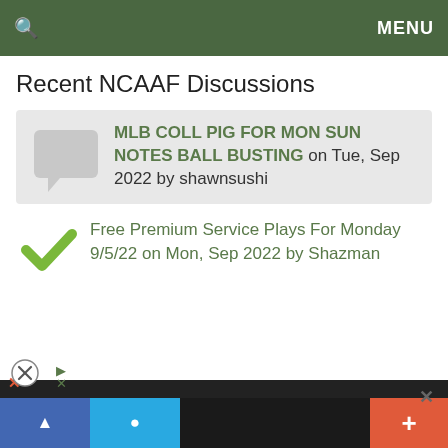MENU
Recent NCAAF Discussions
MLB COLL PIG FOR MON SUN NOTES BALL BUSTING on Tue, Sep 2022 by shawnsushi
Free Premium Service Plays For Monday 9/5/22 on Mon, Sep 2022 by Shazman
[Figure (screenshot): Advertisement card: Gourmet, Fresh, Big Cookies - Crumbl Cookies - Ashburn with logo and arrow icon]
[Figure (screenshot): Bottom mobile browser toolbar with blue, teal, dark, and red segments; plus icon on red segment]